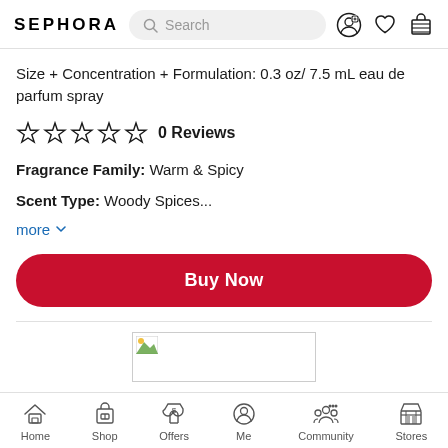SEPHORA
Size + Concentration + Formulation: 0.3 oz/ 7.5 mL eau de parfum spray
0 Reviews
Fragrance Family: Warm & Spicy
Scent Type: Woody Spices...
more
Buy Now
[Figure (screenshot): Broken image placeholder]
Home Shop Offers Me Community Stores